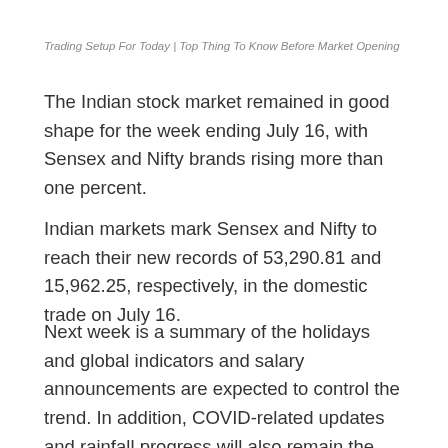Trading Setup For Today | Top Thing To Know Before Market Opening
The Indian stock market remained in good shape for the week ending July 16, with Sensex and Nifty brands rising more than one percent.
Indian markets mark Sensex and Nifty to reach their new records of 53,290.81 and 15,962.25, respectively, in the domestic trade on July 16.
Next week is a summary of the holidays and global indicators and salary announcements are expected to control the trend. In addition, COVID-related updates and rainfall progress will also remain the focus.